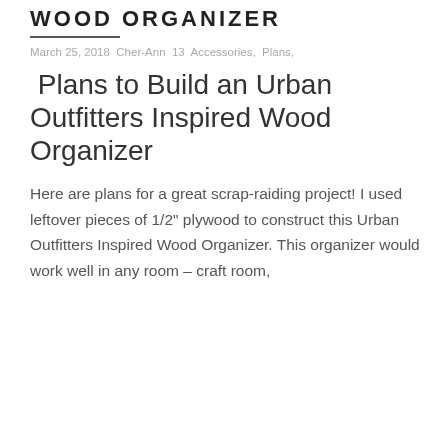WOOD ORGANIZER
March 25, 2018  Cher-Ann 13  Accessories,  Plans,
Plans to Build an Urban Outfitters Inspired Wood Organizer
Here are plans for a great scrap-raiding project! I used leftover pieces of 1/2" plywood to construct this Urban Outfitters Inspired Wood Organizer. This organizer would work well in any room – craft room,